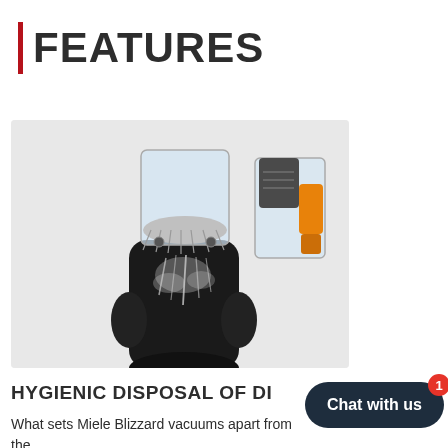FEATURES
[Figure (photo): Close-up product photo of a Miele Blizzard vacuum cleaner showing the dust disposal mechanism, with dust/debris being expelled from a black container component. An orange accent element and grey/clear canister are visible in the upper right portion of the image.]
HYGIENIC DISPOSAL OF DI
What sets Miele Blizzard vacuums apart from the